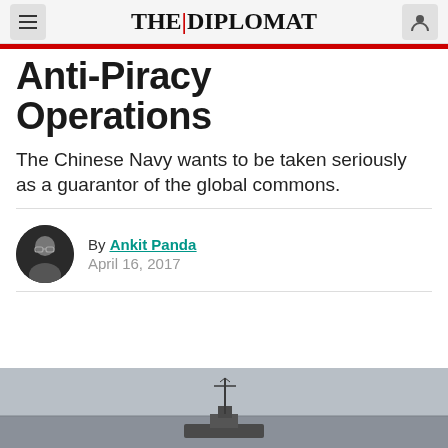THE DIPLOMAT
Anti-Piracy Operations
The Chinese Navy wants to be taken seriously as a guarantor of the global commons.
By Ankit Panda
April 16, 2017
[Figure (photo): Naval ship at sea, misty gray sky and ocean horizon]